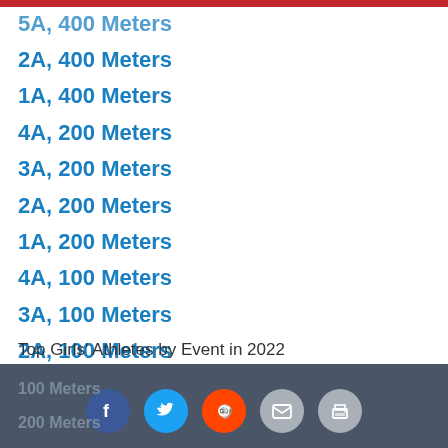5A, 400 Meters
2A, 400 Meters
1A, 400 Meters
4A, 200 Meters
3A, 200 Meters
2A, 200 Meters
1A, 200 Meters
4A, 100 Meters
3A, 100 Meters
2A, 100 Meters
1A, 100 Meters
Top Girls' Athletes by Event in 2022
100 Meters  200 Meters